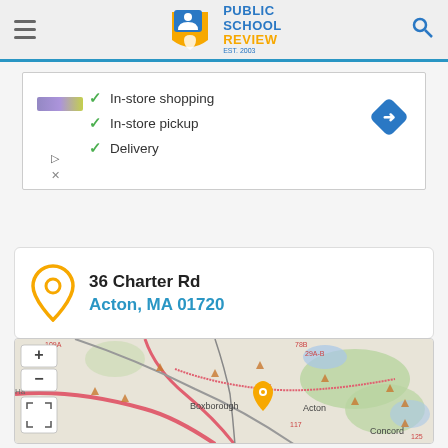Public School Review - EST. 2003
[Figure (screenshot): Advertisement banner with checkmarks for In-store shopping, In-store pickup, and Delivery, with a navigation arrow badge]
36 Charter Rd
Acton, MA 01720
[Figure (map): OpenStreetMap showing Acton MA area with Boxborough, Concord, route markers 109A, 78B, 29A-B, 115, 117, 125, and an orange location pin near Acton. Map controls include zoom in/out and fullscreen buttons.]